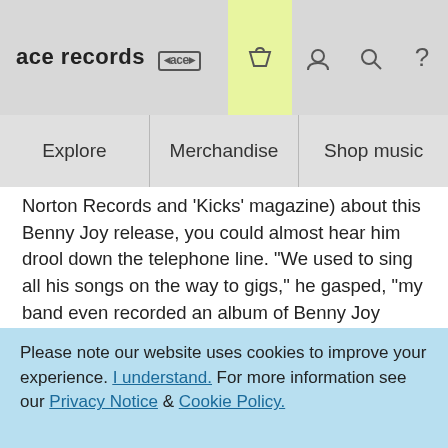ace records [ace logo]
Explore | Merchandise | Shop music
Norton Records and 'Kicks' magazine) about this Benny Joy release, you could almost hear him drool down the telephone line. "We used to sing all his songs on the way to gigs," he gasped, "my band even recorded an album of Benny Joy songs".
Benny Joy has that sort of effect on the rockabilly and rock'n'roll cognoscenti. His Spin The Bottle is a perennial dance-floor favourite but there is much more to his recorded repertoire, as this value-for-
Please note our website uses cookies to improve your experience. I understand. For more information see our Privacy Notice & Cookie Policy.